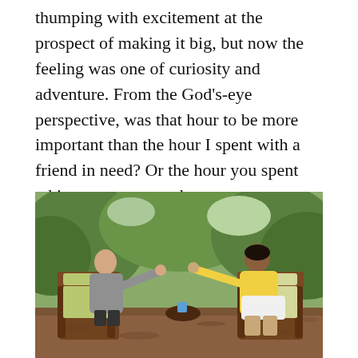thumping with excitement at the prospect of making it big, but now the feeling was one of curiosity and adventure. From the God's-eye perspective, was that hour to be more important than the hour I spent with a friend in need? Or the hour you spent taking a stranger to the emergency room?
[Figure (photo): Two people sitting in wicker chairs outdoors in a garden setting, reaching toward each other in conversation. One person wearing a gray jacket, the other in a yellow outfit. Green trees and foliage in the background.]